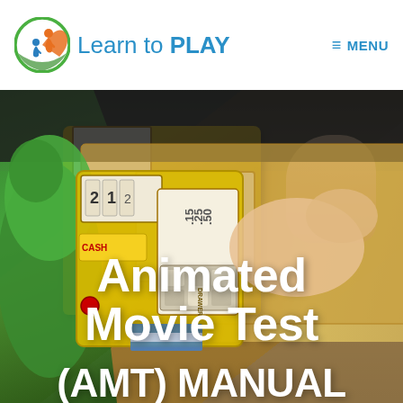[Figure (logo): Learn to PLAY logo with circular icon showing two children figures in orange and blue on green/orange circle]
Learn to PLAY
≡ MENU
[Figure (photo): Child's hand operating a yellow toy cash register on a wooden surface, with a green stuffed frog toy visible on the left. Overlay text reads 'Animated Movie Test (AMT) MANUAL']
Animated Movie Test (AMT) MANUAL